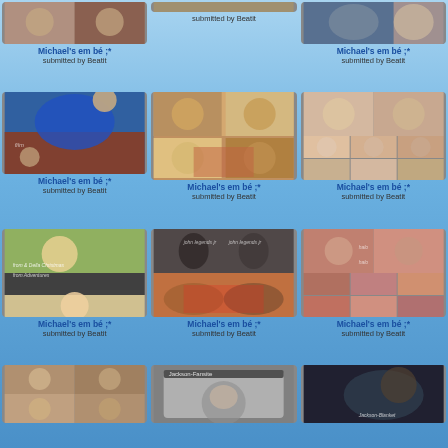[Figure (photo): Collage of Michael Jackson baby/child photos - top left partial]
Michael's em bé ;*
submitted by Beatit
[Figure (photo): Photo collage middle top - partial]
submitted by Beatit
[Figure (photo): Photo collage right top - partial with two figures]
Michael's em bé ;*
submitted by Beatit
[Figure (photo): Michael Jackson in blue suit collage]
Michael's em bé ;*
submitted by Beatit
[Figure (photo): Child photo collage middle row center]
Michael's em bé ;*
submitted by Beatit
[Figure (photo): Baby/child photo collage middle row right]
Michael's em bé ;*
submitted by Beatit
[Figure (photo): Blonde child collage with text overlay]
Michael's em bé ;*
submitted by Beatit
[Figure (photo): Adult figures in formal wear collage]
Michael's em bé ;*
submitted by Beatit
[Figure (photo): Child photos collage bottom right]
Michael's em bé ;*
submitted by Beatit
[Figure (photo): Child group photo collage bottom left partial]
[Figure (photo): Black and white child photo bottom center partial]
[Figure (photo): Dark background photo with figure bottom right partial]